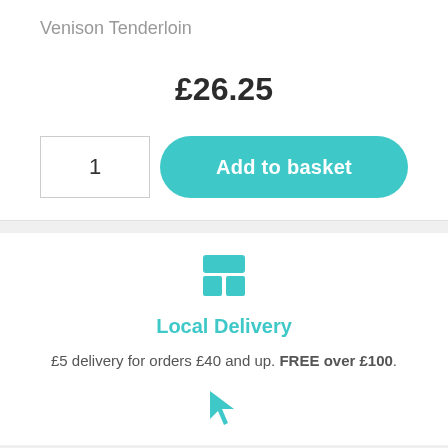Venison Tenderloin
£26.25
1
Add to basket
[Figure (illustration): Teal box/package icon representing local delivery]
Local Delivery
£5 delivery for orders £40 and up. FREE over £100.
[Figure (illustration): Teal cursor/pointer arrow icon]